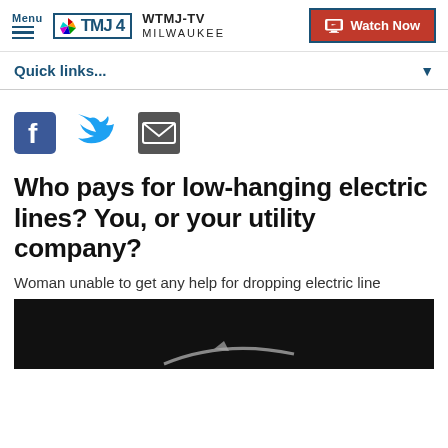Menu | WTMJ-TV MILWAUKEE | Watch Now
Quick links...
[Figure (screenshot): Social sharing icons: Facebook, Twitter, Email]
Who pays for low-hanging electric lines? You, or your utility company?
Woman unable to get any help for dropping electric line
[Figure (photo): Video thumbnail showing a dark background with a partial arc/line shape]